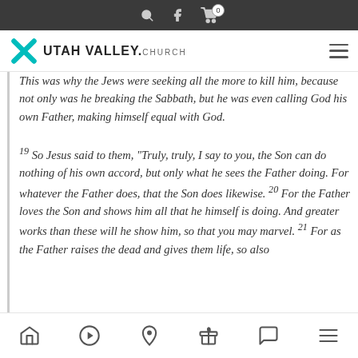Utah Valley Church — website screenshot header with navigation
This was why the Jews were seeking all the more to kill him, because not only was he breaking the Sabbath, but he was even calling God his own Father, making himself equal with God. 19 So Jesus said to them, “Truly, truly, I say to you, the Son can do nothing of his own accord, but only what he sees the Father doing. For whatever the Father does, that the Son does likewise. 20 For the Father loves the Son and shows him all that he himself is doing. And greater works than these will he show him, so that you may marvel. 21 For as the Father raises the dead and gives them life, so also
Bottom navigation bar with home, play, location, gift, chat, and menu icons